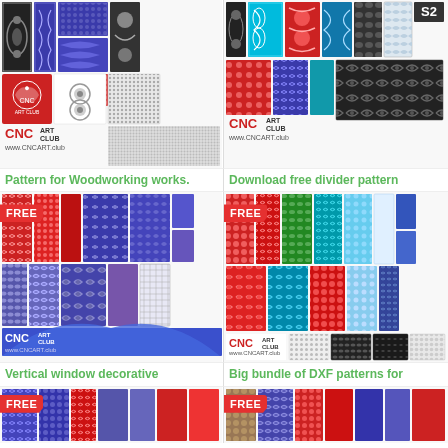[Figure (illustration): Collection of decorative CNC pattern panels in blue, black, and red with floral and scroll designs. CNC Art Club logo and www.CNCART.club URL shown.]
[Figure (illustration): Collection of decorative CNC divider patterns in red, blue, and black with floral designs. CNC Art Club logo and www.CNCART.club URL shown.]
Pattern for Woodworking works.
Download free divider pattern
[Figure (illustration): FREE labeled collection of decorative vertical CNC patterns in red, blue, and purple with floral scroll designs. CNC Art Club logo and www.CNCART.club URL shown.]
[Figure (illustration): FREE labeled big bundle of DXF patterns in red, blue, green, teal colors with floral designs. CNC Art Club logo and www.CNCART.club URL shown.]
Vertical window decorative
Big bundle of DXF patterns for
[Figure (illustration): FREE labeled collection of decorative CNC patterns in blue and red. Partially visible at bottom.]
[Figure (illustration): FREE labeled collection of decorative CNC patterns in blue, red, and brown. Partially visible at bottom.]